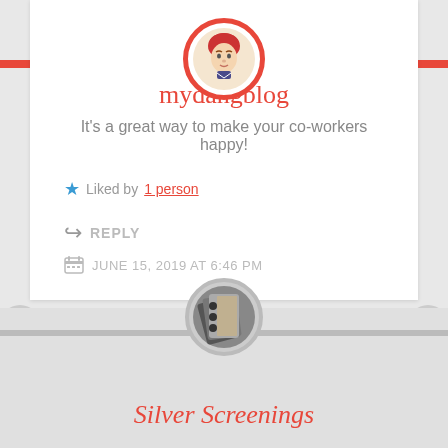[Figure (illustration): Circular avatar with red border showing animated character with red hair]
mydangblog
It's a great way to make your co-workers happy!
Liked by 1 person
REPLY
JUNE 15, 2019 AT 6:46 PM
[Figure (photo): Circular avatar showing a photo of binders/notebooks]
Silver Screenings